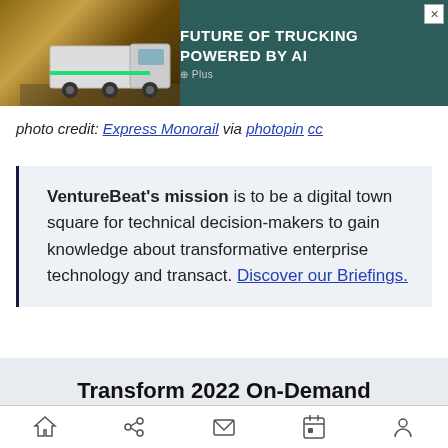[Figure (photo): Advertisement banner for trucking AI product showing a truck on a desert road with text 'FUTURE OF TRUCKING POWERED BY AI' and G Plus logo]
photo credit: Express Monorail via photopin cc
VentureBeat's mission is to be a digital town square for technical decision-makers to gain knowledge about transformative enterprise technology and transact. Discover our Briefings.
Transform 2022 On-Demand
Did you miss a session from
[Figure (other): Mobile app bottom navigation bar with home, share, email, calendar, and profile icons]